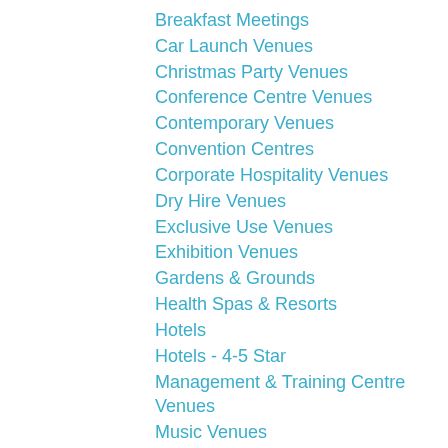Breakfast Meetings
Car Launch Venues
Christmas Party Venues
Conference Centre Venues
Contemporary Venues
Convention Centres
Corporate Hospitality Venues
Dry Hire Venues
Exclusive Use Venues
Exhibition Venues
Gardens & Grounds
Health Spas & Resorts
Hotels
Hotels - 4-5 Star
Management & Training Centre Venues
Music Venues
Nightclubs
Outdoor Event Space
Party Venues